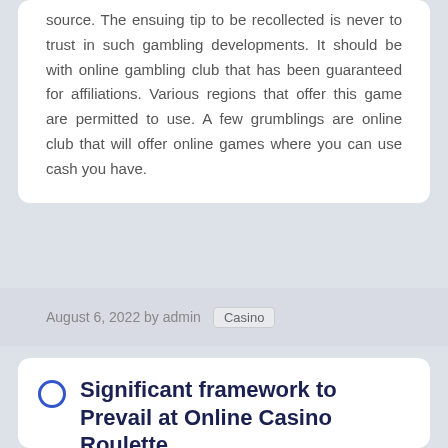source. The ensuing tip to be recollected is never to trust in such gambling developments. It should be with online gambling club that has been guaranteed for affiliations. Various regions that offer this game are permitted to use. A few grumblings are online club that will offer online games where you can use cash you have.
August 6, 2022 by admin  Casino
Significant framework to Prevail at Online Casino Roulette